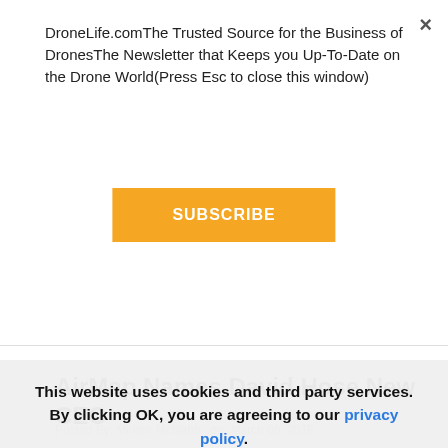DroneLife.comThe Trusted Source for the Business of DronesThe Newsletter that Keeps you Up-To-Date on the Drone World(Press Esc to close this window)
SUBSCRIBE
AirMap Names David Hose New CEO
Posted By: Miriam McNabb   on: March 06, 2018
[Figure (photo): Black and white photo showing the top of a person's head with blonde hair, cropped, against a wooden background.]
This website uses cookies and third party services. By clicking OK, you are agreeing to our privacy policy.
ACCEPT